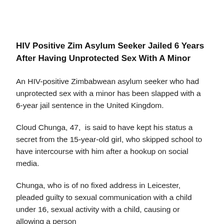HIV Positive Zim Asylum Seeker Jailed 6 Years After Having Unprotected Sex With A Minor
An HIV-positive Zimbabwean asylum seeker who had unprotected sex with a minor has been slapped with a 6-year jail sentence in the United Kingdom.
Cloud Chunga, 47, is said to have kept his status a secret from the 15-year-old girl, who skipped school to have intercourse with him after a hookup on social media.
Chunga, who is of no fixed address in Leicester, pleaded guilty to sexual communication with a child under 16, sexual activity with a child, causing or allowing a person...